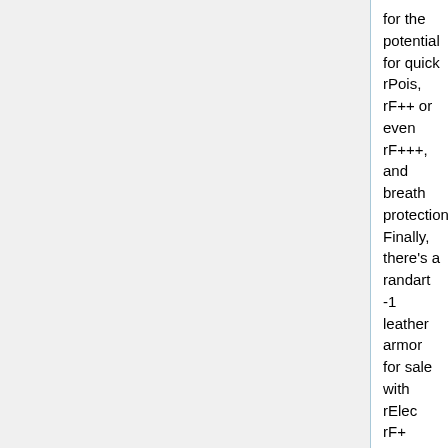for the potential for quick rPois, rF++ or even rF+++, and breath protection. Finally, there's a randart -1 leather armor for sale with rElec rF+ Str+1 Dex-3. Probably too much of a hit to my EV, and